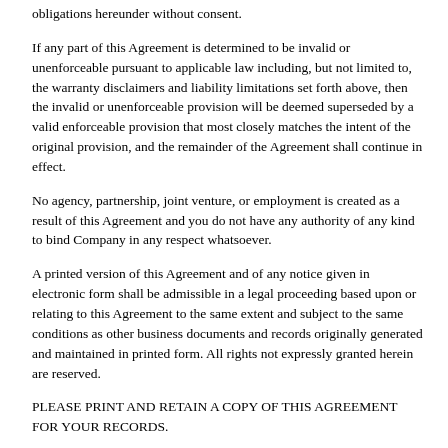obligations hereunder without consent.
If any part of this Agreement is determined to be invalid or unenforceable pursuant to applicable law including, but not limited to, the warranty disclaimers and liability limitations set forth above, then the invalid or unenforceable provision will be deemed superseded by a valid enforceable provision that most closely matches the intent of the original provision, and the remainder of the Agreement shall continue in effect.
No agency, partnership, joint venture, or employment is created as a result of this Agreement and you do not have any authority of any kind to bind Company in any respect whatsoever.
A printed version of this Agreement and of any notice given in electronic form shall be admissible in a legal proceeding based upon or relating to this Agreement to the same extent and subject to the same conditions as other business documents and records originally generated and maintained in printed form. All rights not expressly granted herein are reserved.
PLEASE PRINT AND RETAIN A COPY OF THIS AGREEMENT FOR YOUR RECORDS.
Last Updated: July 15, 2021